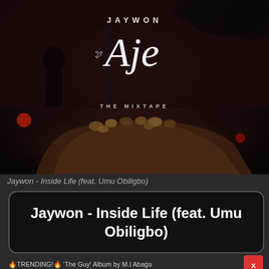[Figure (photo): Album cover art for Jaywon 'Aje The Mixtape' showing hands holding coins/nuts, a silhouetted figure in background, dark atmospheric mood. Text on cover: JAYWON, Aje (in cursive script with a dove), THE MIXTAPE.]
Jaywon - Inside Life (feat. Umu Obiligbo)
Jaywon - Inside Life (feat. Umu Obiligbo)
🔥TRENDING!🔥 'The Guy' Album by M.I Abaga
DOWNLOAD NOW!